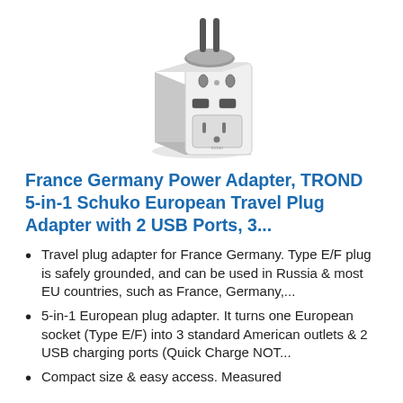[Figure (photo): Product photo of a white power adapter with European Schuko plug pins on top and multiple US-style outlets and USB ports on the front face.]
France Germany Power Adapter, TROND 5-in-1 Schuko European Travel Plug Adapter with 2 USB Ports, 3...
Travel plug adapter for France Germany. Type E/F plug is safely grounded, and can be used in Russia & most EU countries, such as France, Germany,...
5-in-1 European plug adapter. It turns one European socket (Type E/F) into 3 standard American outlets & 2 USB charging ports (Quick Charge NOT...
Compact size & easy access. Measured